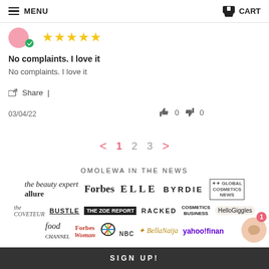MENU | CART
★★★★★
No complaints. I love it
No complaints. I love it
Share |
03/04/22   👍 0  👎 0
< 1 2 3 >
OMOLEWA IN THE NEWS
[Figure (logo): Press logos row 1: allure, Forbes, ELLE, BYRDIE, Global Cosmetics News]
[Figure (logo): Press logos row 2: the Coveteur, BUSTLE, THE ZOE REPORT, RACKED, COSMETICS BUSINESS, HelloGiggles]
[Figure (logo): Press logos row 3: food (partial), Forbes Woman, NBC, BellaNaija, yahoo!finance]
SIGN UP!